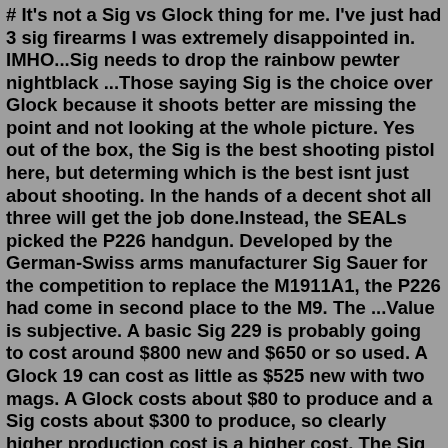# It's not a Sig vs Glock thing for me. I've just had 3 sig firearms I was extremely disappointed in. IMHO...Sig needs to drop the rainbow pewter nightblack ...Those saying Sig is the choice over Glock because it shoots better are missing the point and not looking at the whole picture. Yes out of the box, the Sig is the best shooting pistol here, but determing which is the best isnt just about shooting. In the hands of a decent shot all three will get the job done.Instead, the SEALs picked the P226 handgun. Developed by the German-Swiss arms manufacturer Sig Sauer for the competition to replace the M1911A1, the P226 had come in second place to the M9. The ...Value is subjective. A basic Sig 229 is probably going to cost around $800 new and $650 or so used. A Glock 19 can cost as little as $525 new with two mags. A Glock costs about $80 to produce and a Sig costs about $300 to produce, so clearly higher production cost is a higher cost. The Sig 229 is a gorgeous piece of mechanical engineering.Feb 20, 2022 · The best trigger is Sig and HK, the worst trigger is Glock. The Glock is the